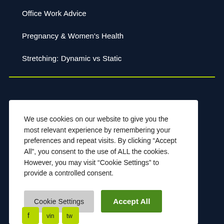Office Work Advice
Pregnancy & Women's Health
Stretching: Dynamic vs Static
We use cookies on our website to give you the most relevant experience by remembering your preferences and repeat visits. By clicking “Accept All”, you consent to the use of ALL the cookies. However, you may visit “Cookie Settings” to provide a controlled consent.
Cookie Settings
Accept All